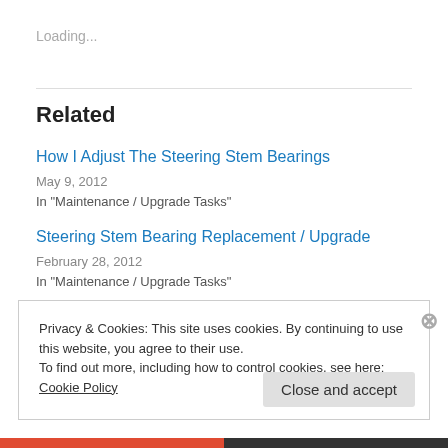Loading...
Related
How I Adjust The Steering Stem Bearings
May 9, 2012
In "Maintenance / Upgrade Tasks"
Steering Stem Bearing Replacement / Upgrade
February 28, 2012
In "Maintenance / Upgrade Tasks"
Privacy & Cookies: This site uses cookies. By continuing to use this website, you agree to their use.
To find out more, including how to control cookies, see here: Cookie Policy
Close and accept